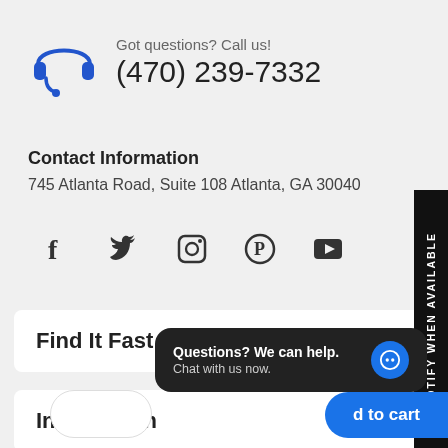[Figure (illustration): Blue headset/headphones icon with microphone]
Got questions? Call us!
(470) 239-7332
Contact Information
745 Atlanta Road, Suite 108 Atlanta, GA 30040
[Figure (infographic): Social media icons: Facebook, Twitter, Instagram, Pinterest, YouTube]
Find It Fast
Information
NOTIFY WHEN AVAILABLE
Questions? We can help.
Chat with us now.
d to cart